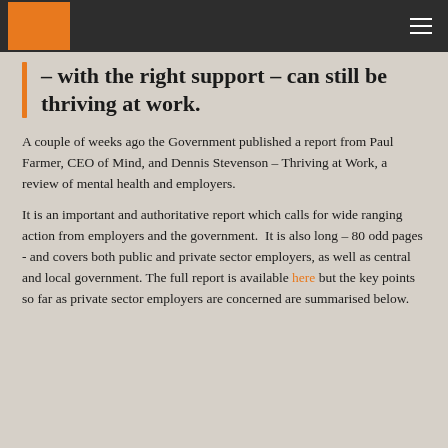– with the right support – can still be thriving at work.
A couple of weeks ago the Government published a report from Paul Farmer, CEO of Mind, and Dennis Stevenson – Thriving at Work, a review of mental health and employers.
It is an important and authoritative report which calls for wide ranging action from employers and the government.  It is also long – 80 odd pages - and covers both public and private sector employers, as well as central and local government. The full report is available here but the key points so far as private sector employers are concerned are summarised below.